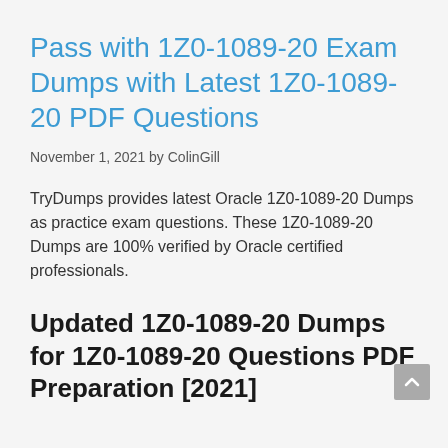Pass with 1Z0-1089-20 Exam Dumps with Latest 1Z0-1089-20 PDF Questions
November 1, 2021 by ColinGill
TryDumps provides latest Oracle 1Z0-1089-20 Dumps as practice exam questions. These 1Z0-1089-20 Dumps are 100% verified by Oracle certified professionals.
Updated 1Z0-1089-20 Dumps for 1Z0-1089-20 Questions PDF Preparation [2021]